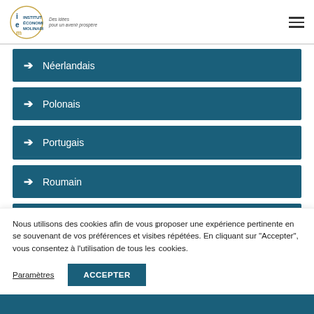Institut Économique Molinari — Des idées pour un avenir prospère
Néerlandais
Polonais
Portugais
Roumain
Russe
Nous utilisons des cookies afin de vous proposer une expérience pertinente en se souvenant de vos préférences et visites répétées. En cliquant sur "Accepter", vous consentez à l'utilisation de tous les cookies.
Paramètres | ACCEPTER